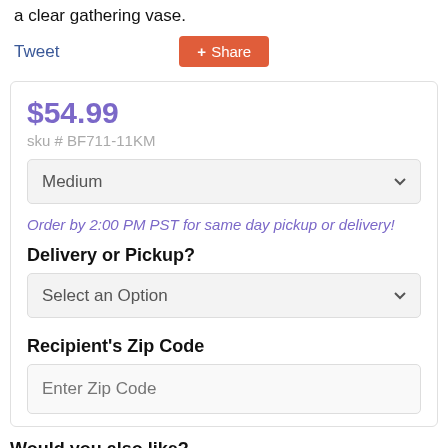a clear gathering vase.
Tweet
+ Share
$54.99
sku # BF711-11KM
Medium
Order by 2:00 PM PST for same day pickup or delivery!
Delivery or Pickup?
Select an Option
Recipient's Zip Code
Enter Zip Code
Would you also like?